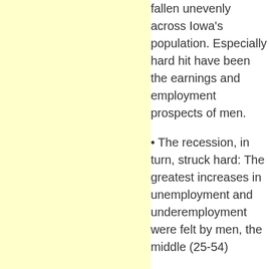fallen unevenly across Iowa's population. Especially hard hit have been the earnings and employment prospects of men.
• The recession, in turn, struck hard: The greatest increases in unemployment and underemployment were felt by men, the middle (25-54)